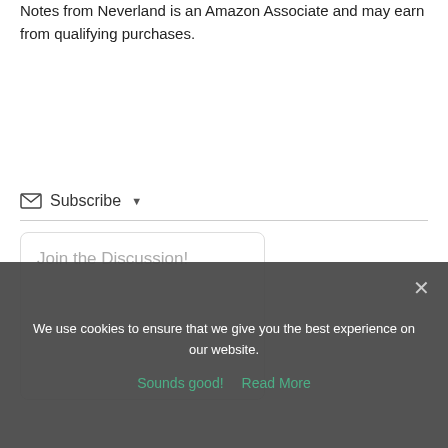Notes from Neverland is an Amazon Associate and may earn from qualifying purchases.
Subscribe ▾
Join the Discussion!
We use cookies to ensure that we give you the best experience on our website.
Sounds good!   Read More